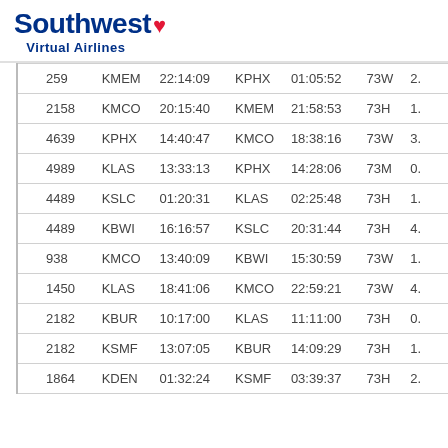Southwest Virtual Airlines
| Flight | Origin | Dep | Dest | Arr | AC |  |
| --- | --- | --- | --- | --- | --- | --- |
| 259 | KMEM | 22:14:09 | KPHX | 01:05:52 | 73W | 2. |
| 2158 | KMCO | 20:15:40 | KMEM | 21:58:53 | 73H | 1. |
| 4639 | KPHX | 14:40:47 | KMCO | 18:38:16 | 73W | 3. |
| 4989 | KLAS | 13:33:13 | KPHX | 14:28:06 | 73M | 0. |
| 4489 | KSLC | 01:20:31 | KLAS | 02:25:48 | 73H | 1. |
| 4489 | KBWI | 16:16:57 | KSLC | 20:31:44 | 73H | 4. |
| 938 | KMCO | 13:40:09 | KBWI | 15:30:59 | 73W | 1. |
| 1450 | KLAS | 18:41:06 | KMCO | 22:59:21 | 73W | 4. |
| 2182 | KBUR | 10:17:00 | KLAS | 11:11:00 | 73H | 0. |
| 2182 | KSMF | 13:07:05 | KBUR | 14:09:29 | 73H | 1. |
| 1864 | KDEN | 01:32:24 | KSMF | 03:39:37 | 73H | 2. |